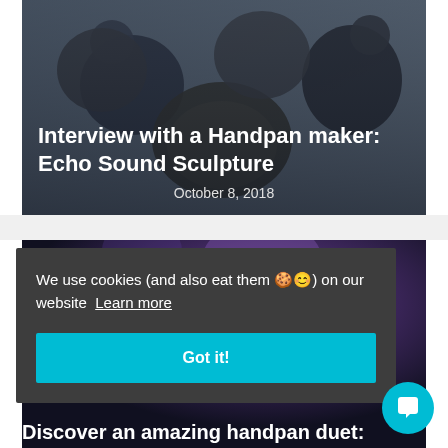[Figure (photo): Photo of people holding handpan drums, dark overlay, used as article card background image]
Interview with a Handpan maker: Echo Sound Sculpture
October 8, 2018
[Figure (photo): Dark background photo of handpan performance with purple stage lighting, partially obscured by cookie banner]
We use cookies (and also eat them 🍪😊) on our website  Learn more
Got it!
Discover an amazing handpan duet: